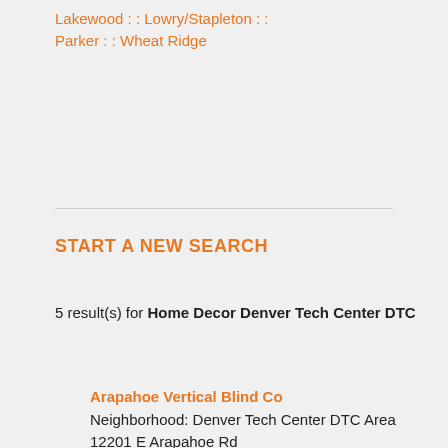Lakewood :: Lowry/Stapleton :: Parker :: Wheat Ridge
START A NEW SEARCH
5 result(s) for Home Decor Denver Tech Center DTC
Arapahoe Vertical Blind Co
Neighborhood: Denver Tech Center DTC Area
12201 E Arapahoe Rd
Centennial, CO 80112